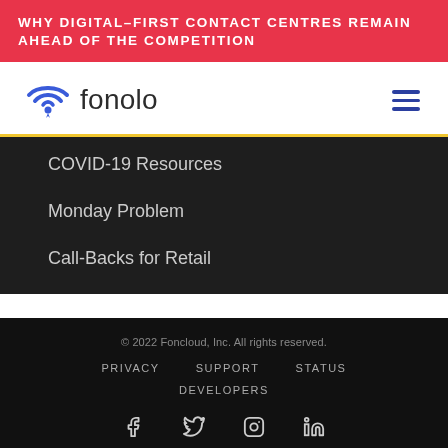WHY DIGITAL-FIRST CONTACT CENTRES REMAIN AHEAD OF THE COMPETITION
[Figure (logo): Fonolo logo with wifi/location pin icon and hamburger menu icon]
COVID-19 Resources
Monday Problem
Call-Backs for Retail
© 2022 Foncloud, Inc. All rights reserved.
PRIVACY   SUPPORT   STATUS
DEVELOPERS